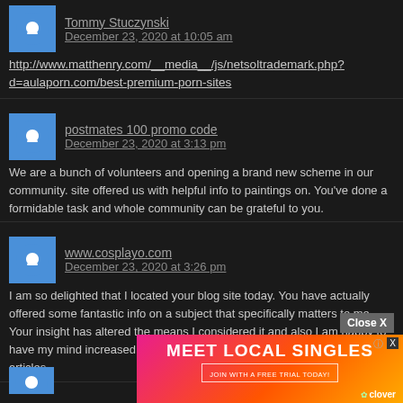Tommy Stuczynski
December 23, 2020 at 10:05 am
http://www.matthenry.com/__media__/js/netsoltrademark.php?d=aulaporn.com/best-premium-porn-sites
postmates 100 promo code
December 23, 2020 at 3:13 pm
We are a bunch of volunteers and opening a brand new scheme in our community. site offered us with helpful info to paintings on. You've done a formidable task and whole community can be grateful to you.
www.cosplayo.com
December 23, 2020 at 3:26 pm
I am so delighted that I located your blog site today. You have actually offered some fantastic info on a subject that specifically matters to me. Your insight has altered the means I considered it and also I am happy to have my mind increased. I will be having a look at even more of your articles.
[Figure (infographic): Advertisement banner: MEET LOCAL SINGLES with JOIN WITH A FREE TRIAL TODAY and clover logo]